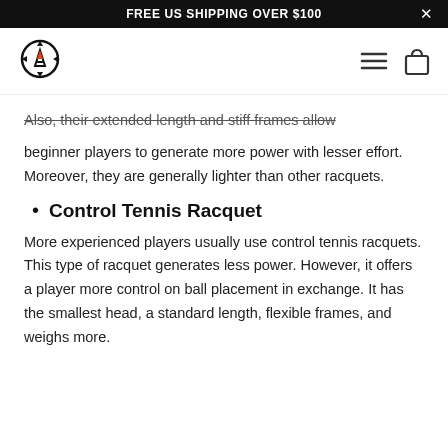FREE US SHIPPING OVER $100
[Figure (logo): Compass-style logo with letter A and arrow, circular navigation icon]
Also, their extended length and stiff frames allow beginner players to generate more power with lesser effort. Moreover, they are generally lighter than other racquets.
Control Tennis Racquet
More experienced players usually use control tennis racquets. This type of racquet generates less power. However, it offers a player more control on ball placement in exchange. It has the smallest head, a standard length, flexible frames, and weighs more.